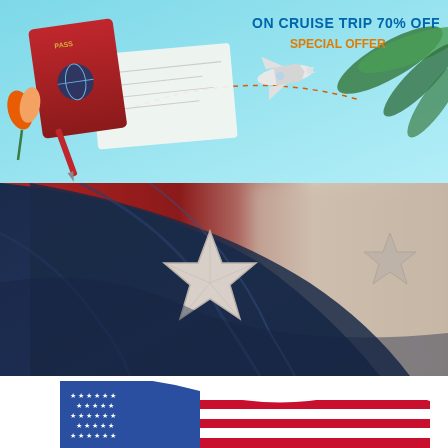[Figure (illustration): Travel advertisement banner showing a passport, boarding pass, and airplane flying over a light blue background with palm leaves and a dotted flight path. Text reads 'ON CRUISE TRIP 70% OFF' in blue and 'SPECIAL OFFER' in orange.]
[Figure (photo): Close-up photo of a dark navy blue flag with an embroidered white star, photographed against a blurred red and beige background. The fabric is draped and folded, showing texture and sheen.]
[Figure (photo): Partial view of an American flag (stars and stripes) on a white background, cropped at the bottom of the page showing the top portion of the waving flag.]